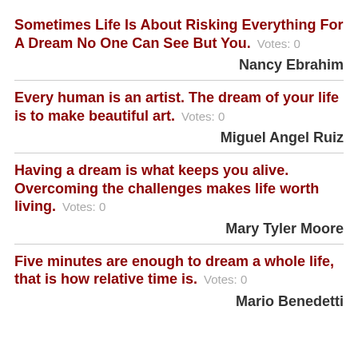Sometimes Life Is About Risking Everything For A Dream No One Can See But You.  Votes: 0
Nancy Ebrahim
Every human is an artist. The dream of your life is to make beautiful art.  Votes: 0
Miguel Angel Ruiz
Having a dream is what keeps you alive. Overcoming the challenges makes life worth living.  Votes: 0
Mary Tyler Moore
Five minutes are enough to dream a whole life, that is how relative time is.  Votes: 0
Mario Benedetti